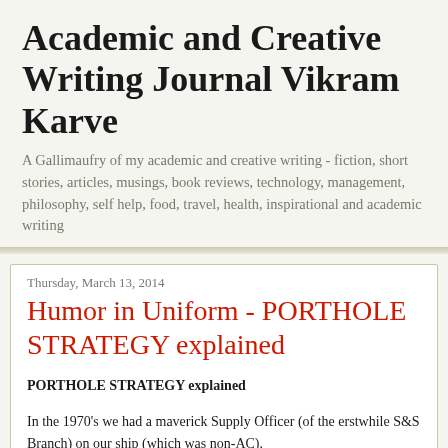Academic and Creative Writing Journal Vikram Karve
A Gallimaufry of my academic and creative writing - fiction, short stories, articles, musings, book reviews, technology, management, philosophy, self help, food, travel, health, inspirational and academic writing
Thursday, March 13, 2014
Humor in Uniform - PORTHOLE STRATEGY explained
PORTHOLE STRATEGY explained
In the 1970's we had a maverick Supply Officer (of the erstwhile S&S Branch) on our ship (which was non-AC).
Once I went to him asking for advice about a letter from headquarters asking for some details about which I was clueless.
"Is the letter classified?" he asked.